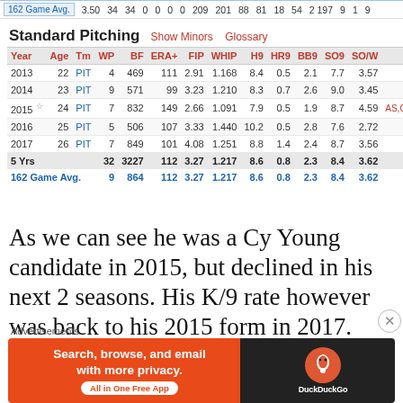| Year | Age | Tm | WP | BF | ERA+ | FIP | WHIP | H9 | HR9 | BB9 | SO9 | SO/W | Awards |
| --- | --- | --- | --- | --- | --- | --- | --- | --- | --- | --- | --- | --- | --- |
| 162 Game Avg. |  |  | 3.50 | 34 | 34 | 0 | 0 | 0 | 0 | 209 | 201 | 88 | 81 | 18 | 54 | 2 197 | 9 | 1 | 9 |
| 2013 | 22 | PIT | 4 | 469 | 111 | 2.91 | 1.168 | 8.4 | 0.5 | 2.1 | 7.7 | 3.57 |  |
| 2014 | 23 | PIT | 9 | 571 | 99 | 3.23 | 1.210 | 8.3 | 0.7 | 2.6 | 9.0 | 3.45 |  |
| 2015 ☆ | 24 | PIT | 7 | 832 | 149 | 2.66 | 1.091 | 7.9 | 0.5 | 1.9 | 8.7 | 4.59 | AS,CYA-4,MVP-19 |
| 2016 | 25 | PIT | 5 | 506 | 107 | 3.33 | 1.440 | 10.2 | 0.5 | 2.8 | 7.6 | 2.72 |  |
| 2017 | 26 | PIT | 7 | 849 | 101 | 4.08 | 1.251 | 8.8 | 1.4 | 2.4 | 8.7 | 3.56 |  |
| 5 Yrs |  |  | 32 | 3227 | 112 | 3.27 | 1.217 | 8.6 | 0.8 | 2.3 | 8.4 | 3.62 |  |
| 162 Game Avg. |  |  | 9 | 864 | 112 | 3.27 | 1.217 | 8.6 | 0.8 | 2.3 | 8.4 | 3.62 |  |
As we can see he was a Cy Young candidate in 2015, but declined in his next 2 seasons. His K/9 rate however was back to his 2015 form in 2017. Add his age (26) and his status
[Figure (other): DuckDuckGo advertisement banner]